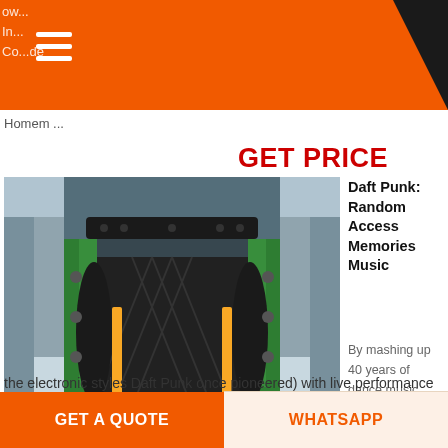ow... In... Co... de
Homem ...
GET PRICE
[Figure (photo): Industrial conveyor belt system viewed from above/inside, showing green metal frame with black rubber belts and yellow guide rails, photographed from one end looking down the length of the belt.]
Daft Punk: Random Access Memories Music
By mashing up 40 years of dance music (including
the electronic styles Daft Punk once pioneered) with live performance and grandiloquent presentation, Random Access
GET A QUOTE
WHATSAPP